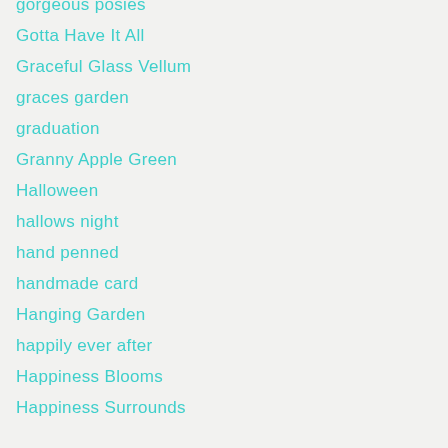gorgeous posies
Gotta Have It All
Graceful Glass Vellum
graces garden
graduation
Granny Apple Green
Halloween
hallows night
hand penned
handmade card
Hanging Garden
happily ever after
Happiness Blooms
Happiness Surrounds